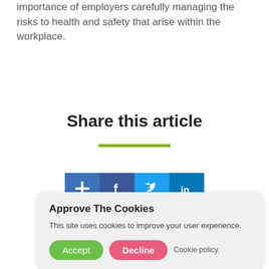importance of employers carefully managing the risks to health and safety that arise within the workplace.
Share this article
[Figure (other): Social media share buttons: add (+), Facebook, Twitter, LinkedIn]
Approve The Cookies
This site uses cookies to improve your user experience.
Accept   Decline   Cookie policy.